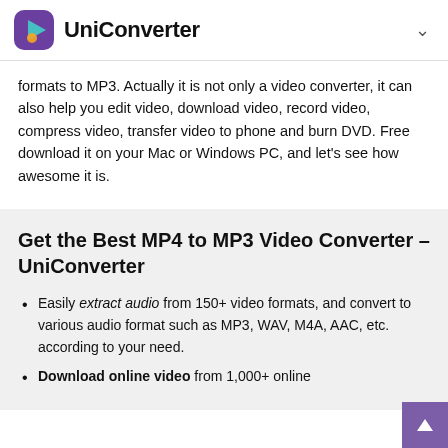UniConverter
formats to MP3. Actually it is not only a video converter, it can also help you edit video, download video, record video, compress video, transfer video to phone and burn DVD. Free download it on your Mac or Windows PC, and let's see how awesome it is.
Get the Best MP4 to MP3 Video Converter – UniConverter
Easily extract audio from 150+ video formats, and convert to various audio format such as MP3, WAV, M4A, AAC, etc. according to your need.
Download online video from 1,000+ online